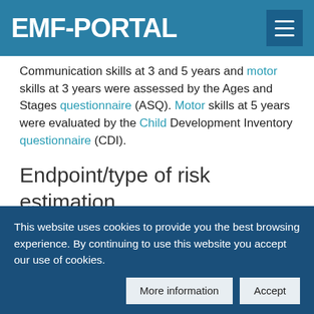EMF-PORTAL
Communication skills at 3 and 5 years and motor skills at 3 years were assessed by the Ages and Stages questionnaire (ASQ). Motor skills at 5 years were evaluated by the Child Development Inventory questionnaire (CDI).
Endpoint/type of risk estimation
language skills, communication skills, motor skills
Exposure
This website uses cookies to provide you the best browsing experience. By continuing to use this website you accept our use of cookies.